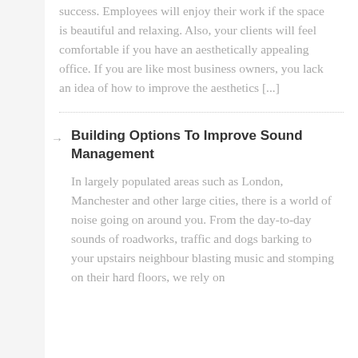success. Employees will enjoy their work if the space is beautiful and relaxing. Also, your clients will feel comfortable if you have an aesthetically appealing office. If you are like most business owners, you lack an idea of how to improve the aesthetics [...]
Building Options To Improve Sound Management

In largely populated areas such as London, Manchester and other large cities, there is a world of noise going on around you. From the day-to-day sounds of roadworks, traffic and dogs barking to your upstairs neighbour blasting music and stomping on their hard floors, we rely on